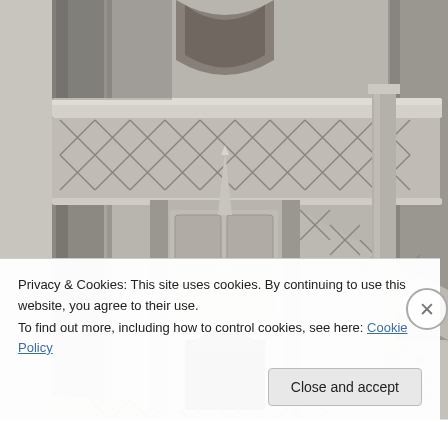[Figure (photo): Black and white photograph of Gothic stone architecture, showing ornate exterior staircases with elaborate tracery railings on what appears to be a cathedral or church exterior. The stonework features intricate diamond lattice patterns on the balustrades and Gothic decorative elements including arched doorways and carved ornamental columns.]
Privacy & Cookies: This site uses cookies. By continuing to use this website, you agree to their use.
To find out more, including how to control cookies, see here: Cookie Policy
Close and accept